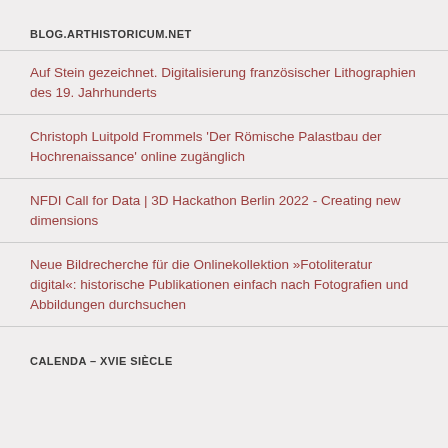BLOG.ARTHISTORICUM.NET
Auf Stein gezeichnet. Digitalisierung französischer Lithographien des 19. Jahrhunderts
Christoph Luitpold Frommels 'Der Römische Palastbau der Hochrenaissance' online zugänglich
NFDI Call for Data | 3D Hackathon Berlin 2022 - Creating new dimensions
Neue Bildrecherche für die Onlinekollektion »Fotoliteratur digital«: historische Publikationen einfach nach Fotografien und Abbildungen durchsuchen
CALENDA – XVIE SIÈCLE